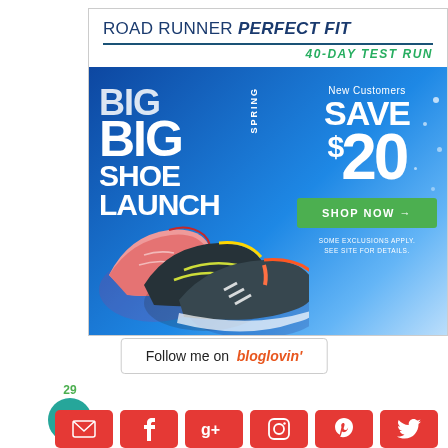[Figure (infographic): Road Runner Sports advertisement banner. Header reads 'ROAD RUNNER PERFECT FIT 40-DAY TEST RUN'. Blue background image showing three running shoes (pink, black/yellow, dark blue/orange). Text says 'BIG BIG SHOE LAUNCH SPRING'. Right side shows 'New Customers SAVE $20' with a green 'SHOP NOW →' button. Fine print: 'SOME EXCLUSIONS APPLY. SEE SITE FOR DETAILS.']
[Figure (logo): Follow me on bloglovin' button with orange italic text]
29
[Figure (infographic): Teal circular chat/comment icon with speech bubble icon inside, with '29' count above]
[Figure (infographic): Row of red/orange social media icon buttons: email, Facebook, Google+, Instagram, Pinterest, Twitter]